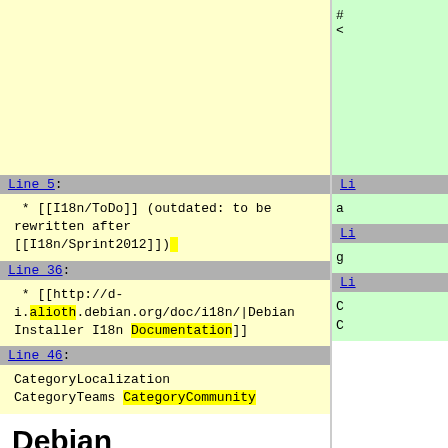* [[I18n/ToDo]] (outdated: to be rewritten after [[I18n/Sprint2012]])
Line 5:
* [[I18n/ToDo]] (outdated: to be rewritten after [[I18n/Sprint2012]])
Line 36:
* [[http://d-i.alioth.debian.org/doc/i18n/|Debian Installer I18n Documentation]]
Line 46:
CategoryLocalization
CategoryTeams CategoryCommunity
Debian Internationalization (I18n) and Localization (l10n)
[Figure (logo): Debian wiki portal banner in red with white text and circular logo]